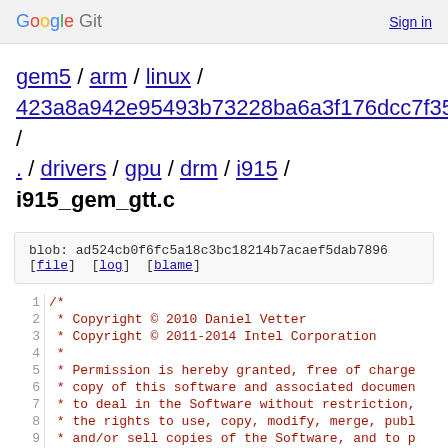Google Git   Sign in
gem5 / arm / linux / 423a8a942e95493b73228ba6a3f176dcc7f35fa9 / . / drivers / gpu / drm / i915 / i915_gem_gtt.c
blob: ad524cb0f6fc5a18c3bc18214b7acaef5dab7896
[file]  [log]  [blame]
1	/*
2	 * Copyright © 2010 Daniel Vetter
3	 * Copyright © 2011-2014 Intel Corporation
4	 * 
5	 * Permission is hereby granted, free of charge
6	 * copy of this software and associated documen
7	 * to deal in the Software without restriction,
8	 * the rights to use, copy, modify, merge, publ
9	 * and/or sell copies of the Software, and to p
10	 * Software is furnished to do so, subject to